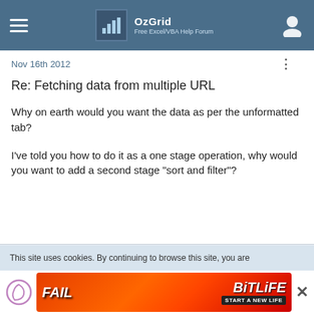OzGrid — Free Excel/VBA Help Forum
Nov 16th 2012
Re: Fetching data from multiple URL
Why on earth would you want the data as per the unformatted tab?
I've told you how to do it as a one stage operation, why would you want to add a second stage "sort and filter"?
pandaaram
Beginner
This site uses cookies. By continuing to browse this site, you are